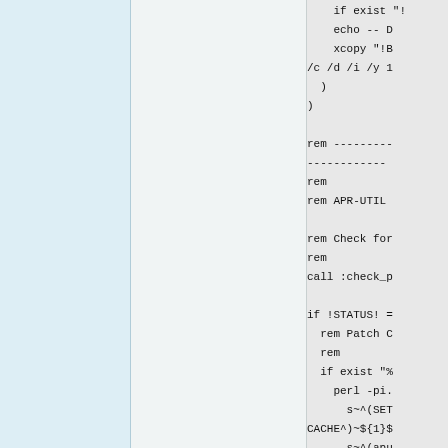[Figure (screenshot): Three-column document layout showing a code listing (batch script) on the right column, a light blue left panel, and a grey middle panel. The code is partially visible and shows Windows batch script commands for APR-UTIL build configuration.]